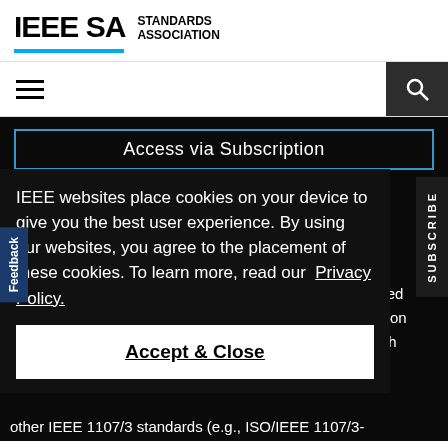IEEE SA STANDARDS ASSOCIATION
[Figure (screenshot): IEEE SA Standards Association logo with blue underline bar]
[Figure (screenshot): Navigation bar with hamburger menu icon on left and search icon on dark background on right]
Access via Subscription
IEEE websites place cookies on your device to give you the best user experience. By using our websites, you agree to the placement of these cookies. To learn more, read our Privacy Policy.
Accept & Close
nded
tation
with
other IEEE 1107/3 standards (e.g., ISO/IEEE 1107/3-